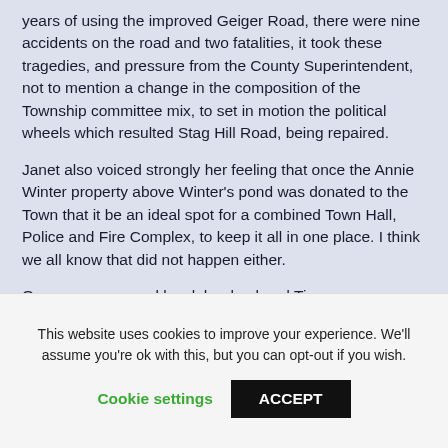years of using the improved Geiger Road, there were nine accidents on the road and two fatalities, it took these tragedies, and pressure from the County Superintendent, not to mention a change in the composition of the Township committee mix, to set in motion the political wheels which resulted Stag Hill Road, being repaired.
Janet also voiced strongly her feeling that once the Annie Winter property above Winter's pond was donated to the Town that it be an ideal spot for a combined Town Hall, Police and Fire Complex, to keep it all in one place. I think we all know that did not happen either.
On a more personal level, her husband Tim, was a
This website uses cookies to improve your experience. We'll assume you're ok with this, but you can opt-out if you wish.
Cookie settings
ACCEPT